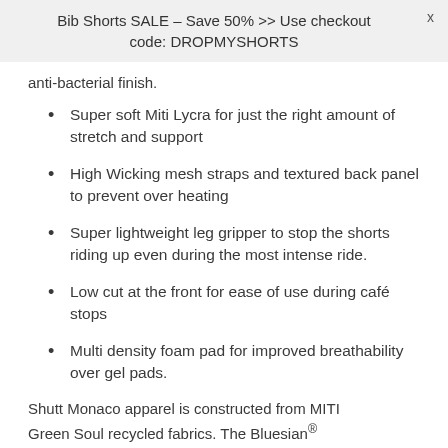Bib Shorts SALE - Save 50% >> Use checkout code: DROPMYSHORTS
anti-bacterial finish.
Super soft Miti Lycra for just the right amount of stretch and support
High Wicking mesh straps and textured back panel to prevent over heating
Super lightweight leg gripper to stop the shorts riding up even during the most intense ride.
Low cut at the front for ease of use during café stops
Multi density foam pad for improved breathability over gel pads.
Shutt Monaco apparel is constructed from MITI Green Soul recycled fabrics. The Bluesian®